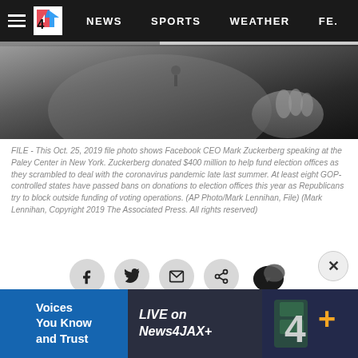NEWS  SPORTS  WEATHER  FE.
[Figure (photo): Close-up photo of a person in a grey sweatshirt, partially showing a hand, dark background. Hero image for news article about Facebook/Zuckerberg.]
FILE - This Oct. 25, 2019 file photo shows Facebook CEO Mark Zuckerberg speaking at the Paley Center in New York. Zuckerberg donated $400 million to help fund election offices as they scrambled to deal with the coronavirus pandemic late last summer. At least eight GOP-controlled states have passed bans on donations to election offices this year as Republicans try to block outside funding of voting operations. (AP Photo/Mark Lennihan, File) (Mark Lennihan, Copyright 2019 The Associated Press. All rights reserved)
[Figure (infographic): Social media sharing icons row: Facebook, Twitter, Email, Share, Comment buttons as circular grey icons.]
OAKLAND, Calif. – Like many companies in trouble before it, Facebook is changing its name and logo.
[Figure (infographic): Advertisement banner: 'Voices You Know and Trust' | 'LIVE on News4JAX+' | News4 logo with plus sign in gold/yellow on dark background.]